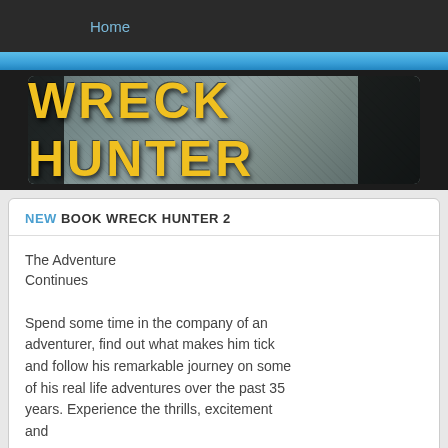Home
[Figure (illustration): Wreck Hunter banner with distressed metal texture background and yellow stencil-style text reading WRECK HUNTER]
NEW BOOK WRECK HUNTER 2
The Adventure Continues
Spend some time in the company of an adventurer, find out what makes him tick and follow his remarkable journey on some of his real life adventures over the past 35 years. Experience the thrills, excitement and